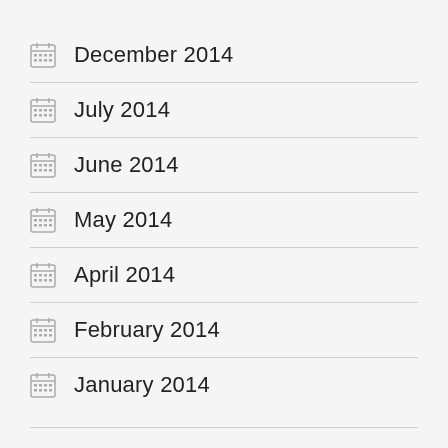December 2014
July 2014
June 2014
May 2014
April 2014
February 2014
January 2014